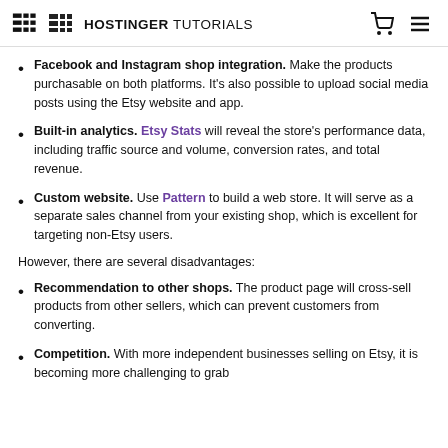HOSTINGER TUTORIALS
Facebook and Instagram shop integration. Make the products purchasable on both platforms. It's also possible to upload social media posts using the Etsy website and app.
Built-in analytics. Etsy Stats will reveal the store's performance data, including traffic source and volume, conversion rates, and total revenue.
Custom website. Use Pattern to build a web store. It will serve as a separate sales channel from your existing shop, which is excellent for targeting non-Etsy users.
However, there are several disadvantages:
Recommendation to other shops. The product page will cross-sell products from other sellers, which can prevent customers from converting.
Competition. With more independent businesses selling on Etsy, it is becoming more challenging to grab customers' attention. You may also face more pricing...